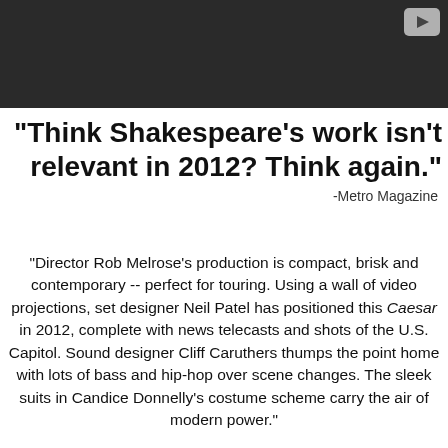[Figure (screenshot): Dark video player bar at top of page with a grey play button icon in the upper right corner]
"Think Shakespeare's work isn't relevant in 2012?  Think again."
-Metro Magazine
"Director Rob Melrose's production is compact, brisk and contemporary -- perfect for touring. Using a wall of video projections, set designer Neil Patel has positioned this Caesar in 2012, complete with news telecasts and shots of the U.S. Capitol. Sound designer Cliff Caruthers thumps the point home with lots of bass and hip-hop over scene changes. The sleek suits in Candice Donnelly's costume scheme carry the air of modern power."